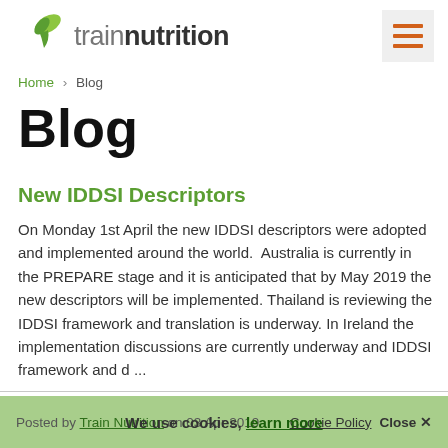[Figure (logo): Train Nutrition logo with green leaf icon and text 'trainnutrition']
[Figure (other): Hamburger menu icon with three orange horizontal bars on light grey background]
Home > Blog
Blog
New IDDSI Descriptors
On Monday 1st April the new IDDSI descriptors were adopted and implemented around the world.  Australia is currently in the PREPARE stage and it is anticipated that by May 2019 the new descriptors will be implemented. Thailand is reviewing the IDDSI framework and translation is underway. In Ireland the implementation discussions are currently underway and IDDSI framework and d ...
Posted by Train Nutrition on 03 Apr 2019